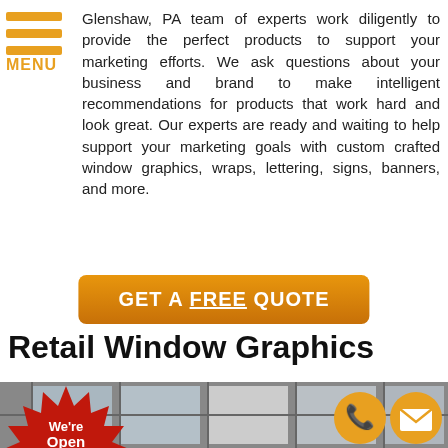[Figure (logo): Orange hamburger menu icon with three horizontal bars and MENU text below]
Glenshaw, PA team of experts work diligently to provide the perfect products to support your marketing efforts. We ask questions about your business and brand to make intelligent recommendations for products that work hard and look great. Our experts are ready and waiting to help support your marketing goals with custom crafted window graphics, wraps, lettering, signs, banners, and more.
[Figure (other): Orange rounded rectangle button with white bold text: GET A FREE QUOTE (FREE is underlined)]
Retail Window Graphics
[Figure (photo): Photo of a retail storefront with large window graphics. A red starburst badge overlay reads: We're Open Phone/Video Consultations Available. Two orange circular icons for phone and email are in the bottom right.]